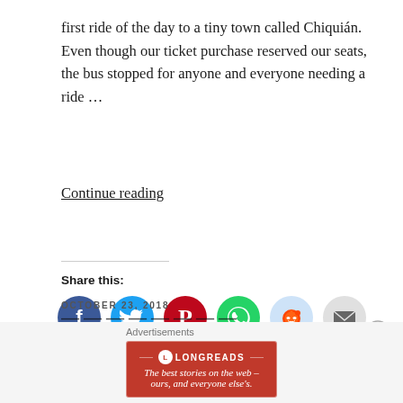first ride of the day to a tiny town called Chiquián. Even though our ticket purchase reserved our seats, the bus stopped for anyone and everyone needing a ride …
Continue reading
[Figure (infographic): Social sharing icons row: Facebook (blue circle with f), Twitter (light blue circle with bird), Pinterest (red circle with P), WhatsApp (green circle with phone), Reddit (light blue circle with alien), Email (grey circle with envelope)]
Loading...
OCTOBER 23, 2018
[Figure (infographic): Longreads advertisement banner: red background with Longreads logo and tagline 'The best stories on the web — ours, and everyone else's.']